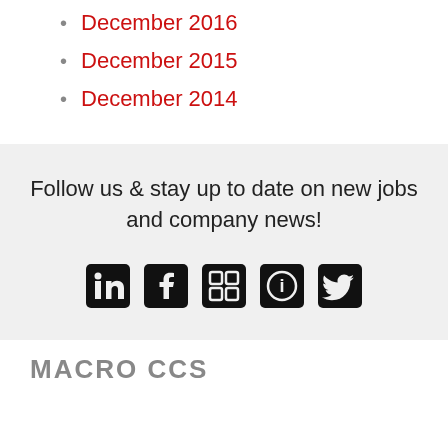December 2016
December 2015
December 2014
Follow us & stay up to date on new jobs and company news!
[Figure (other): Row of social media icons: LinkedIn, Facebook, Instagram (grid), another icon, Twitter]
MACRO CCS